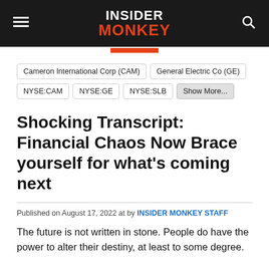INSIDER MONKEY
Cameron International Corp (CAM)
General Electric Co (GE)
NYSE:CAM
NYSE:GE
NYSE:SLB
Show More...
Shocking Transcript: Financial Chaos Now Brace yourself for what’s coming next
Published on August 17, 2022 at by INSIDER MONKEY STAFF
The future is not written in stone. People do have the power to alter their destiny, at least to some degree.